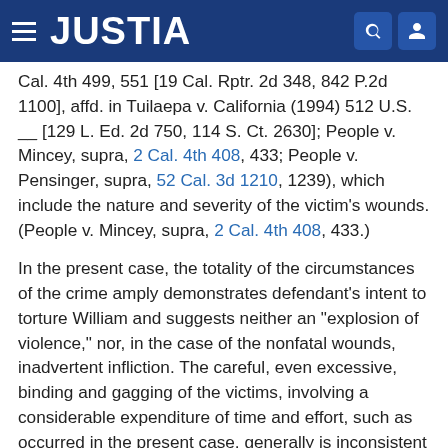JUSTIA
Cal. 4th 499, 551 [19 Cal. Rptr. 2d 348, 842 P.2d 1100], affd. in Tuilaepa v. California (1994) 512 U.S. __ [129 L. Ed. 2d 750, 114 S. Ct. 2630]; People v. Mincey, supra, 2 Cal. 4th 408, 433; People v. Pensinger, supra, 52 Cal. 3d 1210, 1239), which include the nature and severity of the victim's wounds. (People v. Mincey, supra, 2 Cal. 4th 408, 433.)
In the present case, the totality of the circumstances of the crime amply demonstrates defendant's intent to torture William and suggests neither an "explosion of violence," nor, in the case of the nonfatal wounds, inadvertent infliction. The careful, even excessive, binding and gagging of the victims, involving a considerable expenditure of time and effort, such as occurred in the present case, generally is inconsistent with the theory that an "explosion of violence" occurred. William, having been so thoroughly incapacitated as to